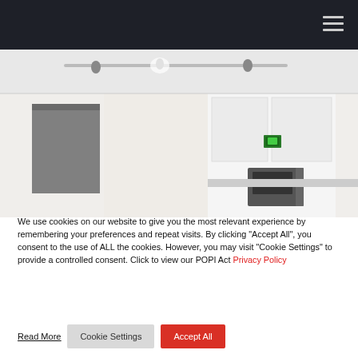Navigation bar with hamburger menu icon
[Figure (photo): Interior room photo showing a modern kitchen/living area with track lighting on the ceiling, white cabinetry, a roller blind window covering, and a microwave on the counter. A green emergency exit sign is visible.]
We use cookies on our website to give you the most relevant experience by remembering your preferences and repeat visits. By clicking “Accept All”, you consent to the use of ALL the cookies. However, you may visit "Cookie Settings" to provide a controlled consent. Click to view our POPI Act Privacy Policy
Read More   Cookie Settings   Accept All